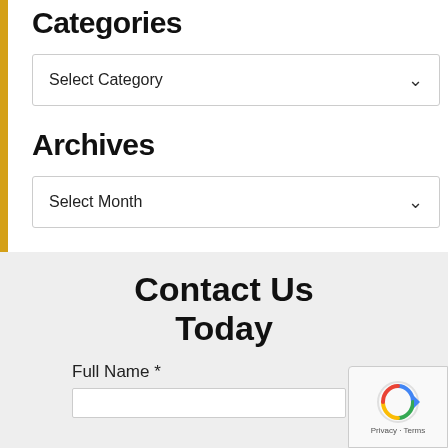Categories
Select Category
Archives
Select Month
Contact Us Today
Full Name *